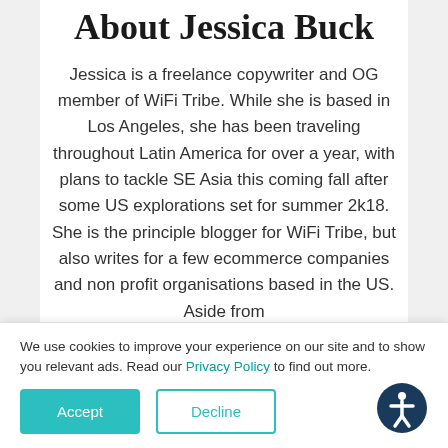About Jessica Buck
Jessica is a freelance copywriter and OG member of WiFi Tribe. While she is based in Los Angeles, she has been traveling throughout Latin America for over a year, with plans to tackle SE Asia this coming fall after some US explorations set for summer 2k18. She is the principle blogger for WiFi Tribe, but also writes for a few ecommerce companies and non profit organisations based in the US. Aside from
We use cookies to improve your experience on our site and to show you relevant ads. Read our Privacy Policy to find out more.
Accept
Decline